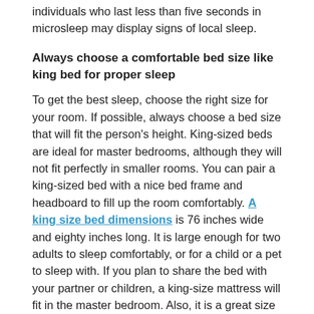individuals who last less than five seconds in microsleep may display signs of local sleep.
Always choose a comfortable bed size like king bed for proper sleep
To get the best sleep, choose the right size for your room. If possible, always choose a bed size that will fit the person's height. King-sized beds are ideal for master bedrooms, although they will not fit perfectly in smaller rooms. You can pair a king-sized bed with a nice bed frame and headboard to fill up the room comfortably. A king size bed dimensions is 76 inches wide and eighty inches long. It is large enough for two adults to sleep comfortably, or for a child or a pet to sleep with. If you plan to share the bed with your partner or children, a king-size mattress will fit in the master bedroom. Also, it is a great size for large dogs. Therefore, it is important to choose a size that is comfortable for both you and your children.
Conclusion
If you've ever wondered about the dangers of microsleep, you're not alone. Many people experience daytime sleepiness and lack of quality sleep. Luckily, it can be prevented and treated with some basic lifestyle changes. Ensure you get at least seven to nine hours of sleep every